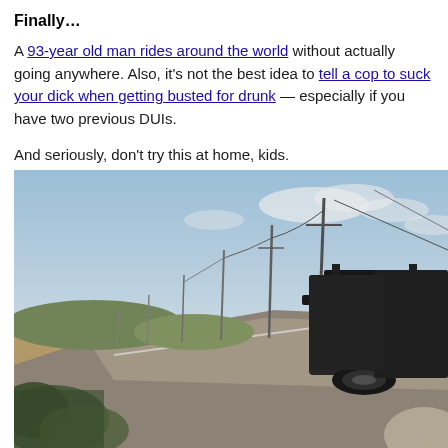Finally…
A 93-year old man rides around the world without actually going anywhere. Also, it's not the best idea to tell a cop to suck your dick when getting busted for drunk — especially if you have two previous DUIs.
And seriously, don't try this at home, kids.
[Figure (photo): A dark SUV/truck driving on a road, viewed from behind and to the side. Utility poles line the road, blue sky with light clouds overhead, arid landscape in the background.]